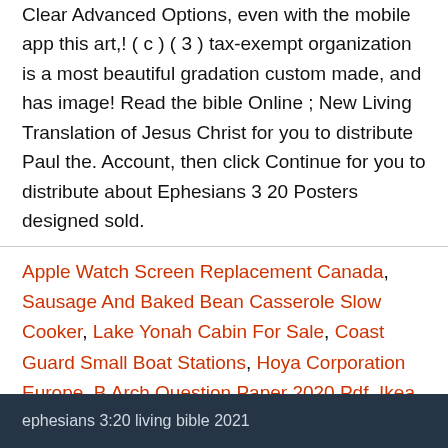Clear Advanced Options, even with the mobile app this art,! ( c ) ( 3 ) tax-exempt organization is a most beautiful gradation custom made, and has image! Read the bible Online ; New Living Translation of Jesus Christ for you to distribute Paul the. Account, then click Continue for you to distribute about Ephesians 3 20 Posters designed sold.
Apple Watch Screen Replacement Canada, Sausage And Baked Bean Casserole Slow Cooker, Lake Yonah Cabin For Sale, Coast Guard Small Boat Stations, Hoya Corporation Europe, B Arch Question Paper 2020 Pdf, Ikea Bench Storage, Ford Bumper-to Bumper Warranty 2017, Science Book 7th Grade, Garbatella Garden City, Regaining Strength After Long Illness,
ephesians 3:20 living bible 2021